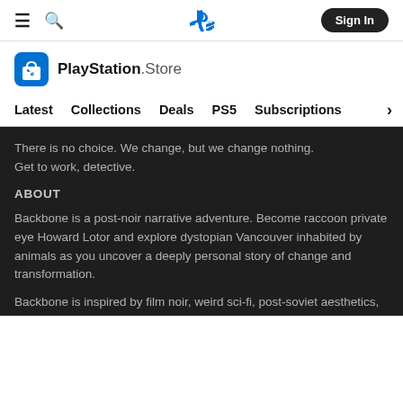PlayStation Store navigation: hamburger menu, search, PlayStation logo, Sign In button
[Figure (logo): PlayStation Store logo with shopping bag icon and text 'PlayStation.Store']
Latest   Collections   Deals   PS5   Subscriptions >
There is no choice. We change, but we change nothing. Get to work, detective.
ABOUT
Backbone is a post-noir narrative adventure. Become raccoon private eye Howard Lotor and explore dystopian Vancouver inhabited by animals as you uncover a deeply personal story of change and transformation.
Backbone is inspired by film noir, weird sci-fi, post-soviet aesthetics, modern political regimes, the works of Lynch and Kaufman, and existential philosophy of Sartre. It is a linear, cinematic narrative experience that subverts genre and challenges your perception of what it means to be a